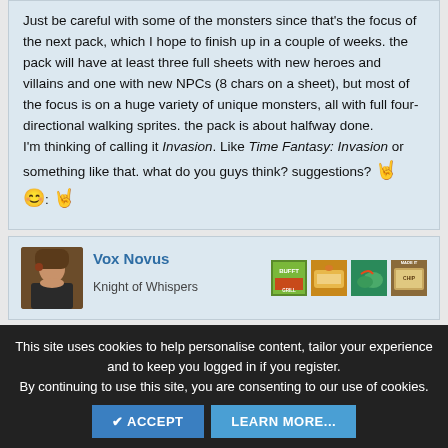Just be careful with some of the monsters since that's the focus of the next pack, which I hope to finish up in a couple of weeks. the pack will have at least three full sheets with new heroes and villains and one with new NPCs (8 chars on a sheet), but most of the focus is on a huge variety of unique monsters, all with full four-directional walking sprites. the pack is about halfway done.

I'm thinking of calling it Invasion. Like Time Fantasy: Invasion or something like that. what do you guys think? suggestions? 🤘 😊: 🤘
Vox Novus
Knight of Whispers
This site uses cookies to help personalise content, tailor your experience and to keep you logged in if you register.
By continuing to use this site, you are consenting to our use of cookies.